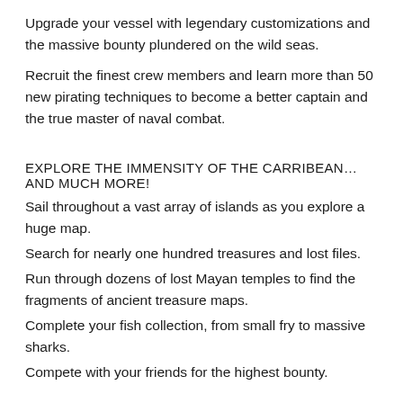Upgrade your vessel with legendary customizations and the massive bounty plundered on the wild seas.
Recruit the finest crew members and learn more than 50 new pirating techniques to become a better captain and the true master of naval combat.
EXPLORE THE IMMENSITY OF THE CARRIBEAN… AND MUCH MORE!
Sail throughout a vast array of islands as you explore a huge map.
Search for nearly one hundred treasures and lost files.
Run through dozens of lost Mayan temples to find the fragments of ancient treasure maps.
Complete your fish collection, from small fry to massive sharks.
Compete with your friends for the highest bounty.
DISCOVER GROUNDBREAKING 3D VISUALS ON MOBILE AND